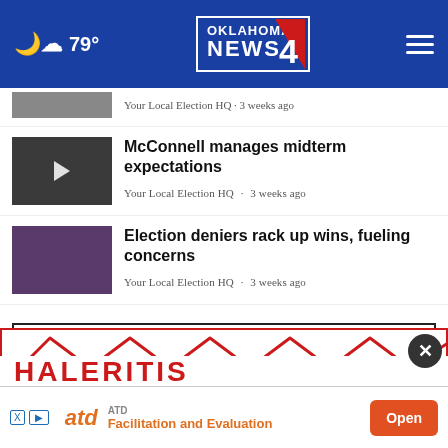Oklahoma's News 4 — 79°
Your Local Election HQ · 3 weeks ago
McConnell manages midterm expectations
Your Local Election HQ · 3 weeks ago
Election deniers rack up wins, fueling concerns
Your Local Election HQ · 3 weeks ago
View All Your Local Election HQ ›
[Figure (screenshot): ATD advertisement banner with red roofline graphic and orange ATD logo with 'Facilitation and Evaluation' text and Open button]